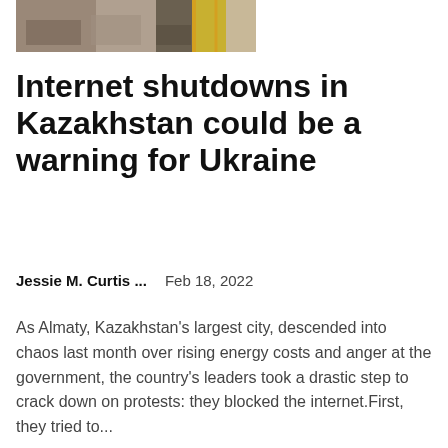[Figure (photo): A photograph showing debris or damaged goods, possibly in an industrial or storage setting with yellow elements visible.]
Internet shutdowns in Kazakhstan could be a warning for Ukraine
Jessie M. Curtis ...    Feb 18, 2022
As Almaty, Kazakhstan's largest city, descended into chaos last month over rising energy costs and anger at the government, the country's leaders took a drastic step to crack down on protests: they blocked the internet.First, they tried to...